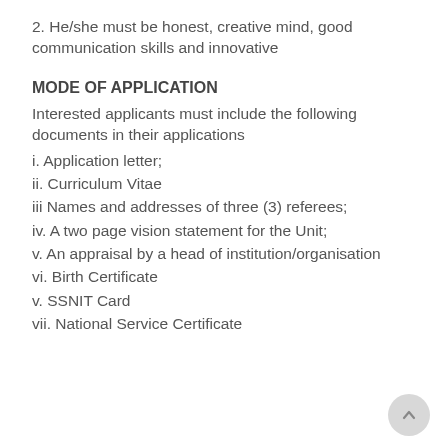2. He/she must be honest, creative mind, good communication skills and innovative
MODE OF APPLICATION
Interested applicants must include the following documents in their applications
i. Application letter;
ii. Curriculum Vitae
iii Names and addresses of three (3) referees;
iv. A two page vision statement for the Unit;
v. An appraisal by a head of institution/organisation
vi. Birth Certificate
v. SSNIT Card
vii. National Service Certificate